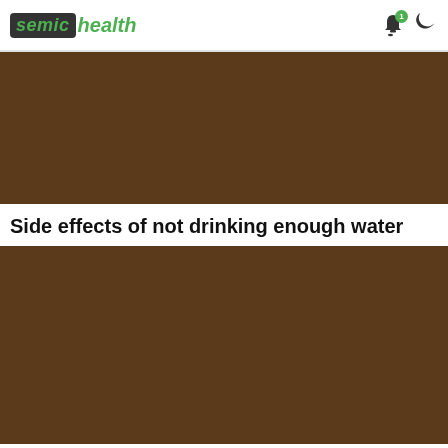semic health
[Figure (photo): Brown/dark colored image placeholder at the top of the page]
Side effects of not drinking enough water
[Figure (photo): Brown/dark colored image placeholder below the title]
What happens to the body and brain...